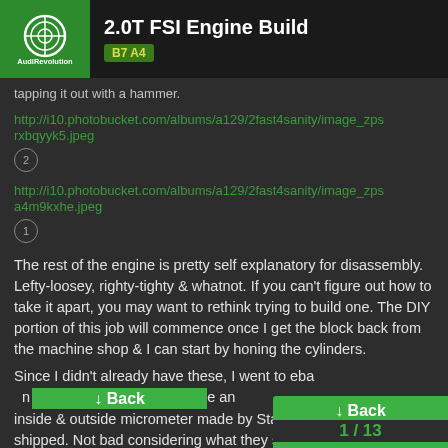2.0T FSI Engine Build | B7 A4
tapping it out with a hammer.
http://i10.photobucket.com/albums/a129/2fast4sanity/image_zpsrxbqyyk5.jpeg
2
http://i10.photobucket.com/albums/a129/2fast4sanity/image_zpsa4m9kxhe.jpeg
1
The rest of the engine is pretty self explanatory for disassembly. Lefty-loosey, righty-tighty & whatnot. If you can't figure out how to take it apart, you may want to rethink trying to build one. The DIY portion of this job will commence once I get the block back from the machine shop & I can start by honing the cylinders.
Since I didn't already have these, I went to eba... he an inside & outside micrometer made by Sta... shipped. Not bad considering what they s...